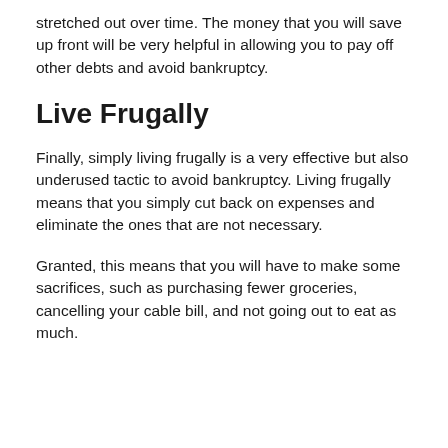stretched out over time. The money that you will save up front will be very helpful in allowing you to pay off other debts and avoid bankruptcy.
Live Frugally
Finally, simply living frugally is a very effective but also underused tactic to avoid bankruptcy. Living frugally means that you simply cut back on expenses and eliminate the ones that are not necessary.
Granted, this means that you will have to make some sacrifices, such as purchasing fewer groceries, cancelling your cable bill, and not going out to eat as much.